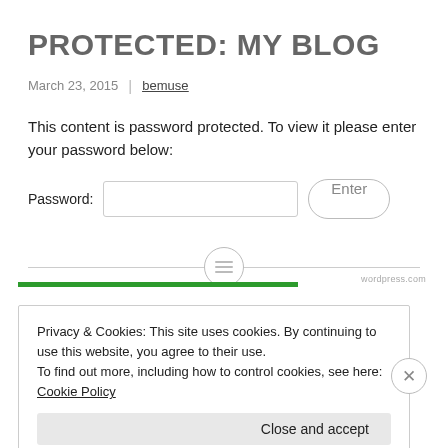PROTECTED: MY BLOG
March 23, 2015  |  bemuse
This content is password protected. To view it please enter your password below:
Password: [input field] Enter
Privacy & Cookies: This site uses cookies. By continuing to use this website, you agree to their use.
To find out more, including how to control cookies, see here: Cookie Policy
Close and accept